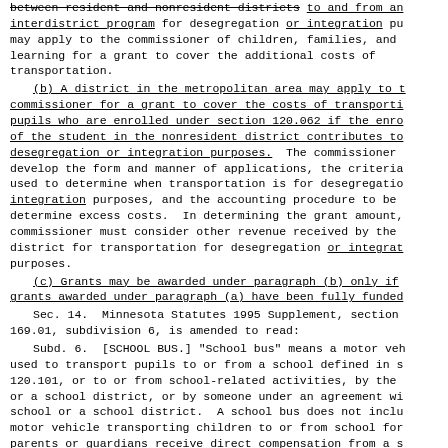between resident and nonresident districts to and from an interdistrict program for desegregation or integration pu may apply to the commissioner of children, families, and learning for a grant to cover the additional costs of transportation.
(b) A district in the metropolitan area may apply to t commissioner for a grant to cover the costs of transporti pupils who are enrolled under section 120.062 if the enro of the student in the nonresident district contributes to desegregation or integration purposes.  The commissioner develop the form and manner of applications, the criteria used to determine when transportation is for desegregatio integration purposes, and the accounting procedure to be determine excess costs.  In determining the grant amount, commissioner must consider other revenue received by the district for transportation for desegregation or integrat purposes.
(c) Grants may be awarded under paragraph (b) only if grants awarded under paragraph (a) have been fully funded
Sec. 14.  Minnesota Statutes 1995 Supplement, section 169.01, subdivision 6, is amended to read:
Subd. 6.  [SCHOOL BUS.] "School bus" means a motor veh used to transport pupils to or from a school defined in s 120.101, or to or from school-related activities, by the or a school district, or by someone under an agreement wi school or a school district.  A school bus does not inclu motor vehicle transporting children to or from school for parents or guardians receive direct compensation from a s